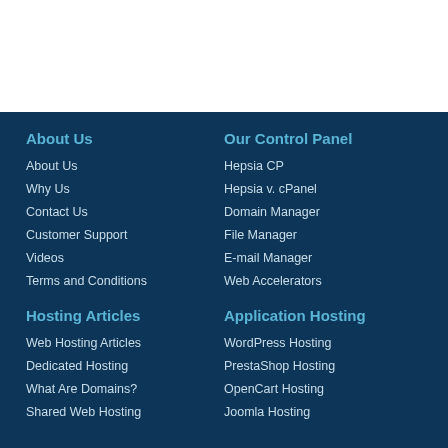About Us
About Us
Why Us
Contact Us
Customer Support
Videos
Terms and Conditions
Our Control Panel
Hepsia CP
Hepsia v. cPanel
Domain Manager
File Manager
E-mail Manager
Web Accelerators
Hosting Articles
Web Hosting Articles
Dedicated Hosting
What Are Domains?
Shared Web Hosting
Application Hosting
WordPress Hosting
PrestaShop Hosting
OpenCart Hosting
Joomla Hosting